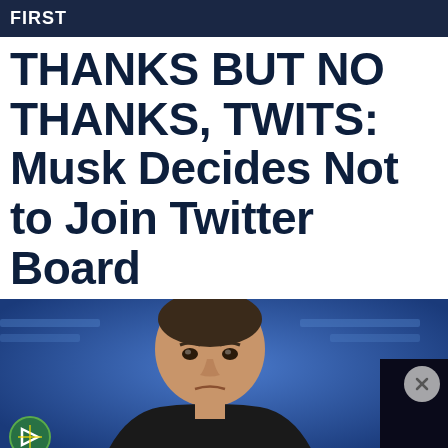FIRST
THANKS BUT NO THANKS, TWITS: Musk Decides Not to Join Twitter Board
[Figure (photo): Photo of Elon Musk with an expression of displeasure, in front of a blue background with blurred text. A circular icon with an X appears on the right, and a green/yellow emblem on the lower left.]
[Figure (infographic): Advertisement for the Disney Bundle featuring Hulu, Disney+, and ESPN+ logos with a blue 'GET THE DISNEY BUNDLE' call-to-action button. Fine print reads: Incl. Hulu (ad-supported) or Hulu (No Ads). Access content from each service separately. ©2021 Disney and its related entities]